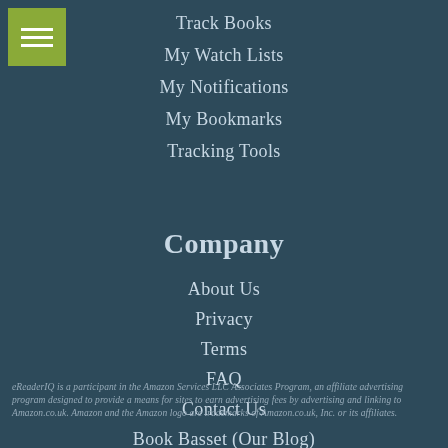[Figure (other): Green hamburger menu icon button in top-left corner]
Track Books
My Watch Lists
My Notifications
My Bookmarks
Tracking Tools
Company
About Us
Privacy
Terms
FAQ
Contact Us
Book Basset (Our Blog)
eReaderIQ is a participant in the Amazon Services LLC Associates Program, an affiliate advertising program designed to provide a means for sites to earn advertising fees by advertising and linking to Amazon.co.uk. Amazon and the Amazon logo are trademarks of Amazon.co.uk, Inc. or its affiliates.